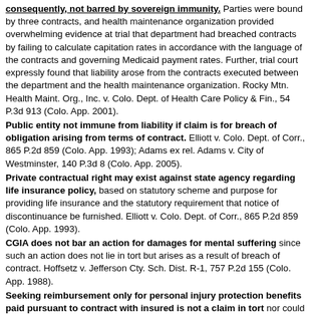consequently, not barred by sovereign immunity. Parties were bound by three contracts, and health maintenance organization provided overwhelming evidence at trial that department had breached contracts by failing to calculate capitation rates in accordance with the language of the contracts and governing Medicaid payment rates. Further, trial court expressly found that liability arose from the contracts executed between the department and the health maintenance organization. Rocky Mtn. Health Maint. Org., Inc. v. Colo. Dept. of Health Care Policy & Fin., 54 P.3d 913 (Colo. App. 2001).
Public entity not immune from liability if claim is for breach of obligation arising from terms of contract. Elliott v. Colo. Dept. of Corr., 865 P.2d 859 (Colo. App. 1993); Adams ex rel. Adams v. City of Westminster, 140 P.3d 8 (Colo. App. 2005).
Private contractual right may exist against state agency regarding life insurance policy, based on statutory scheme and purpose for providing life insurance and the statutory requirement that notice of discontinuance be furnished. Elliott v. Colo. Dept. of Corr., 865 P.2d 859 (Colo. App. 1993).
CGIA does not bar an action for damages for mental suffering since such an action does not lie in tort but arises as a result of breach of contract. Hoffsetz v. Jefferson Cty. Sch. Dist. R-1, 757 P.2d 155 (Colo. App. 1988).
Seeking reimbursement only for personal injury protection benefits paid pursuant to contract with insured is not a claim in tort nor could it lie in tort, and it is not barred by the CGIA. GEICO Gen. Ins. Co. v. Pinnacol Assurance, 56 P.3d 1218 (Colo. App. 2002).
Claim of promissory estoppel properly lies in contract and is not barred by the CGIA. Where plaintiff relied on a promise of employment made by the board of county commissioners, her claim was properly for promissory estoppel, not equitable estoppel, and, therefore, was not barred. Bd. of County Commrs v. DeLozier, 917 P.2d 714 (Colo. 1996).